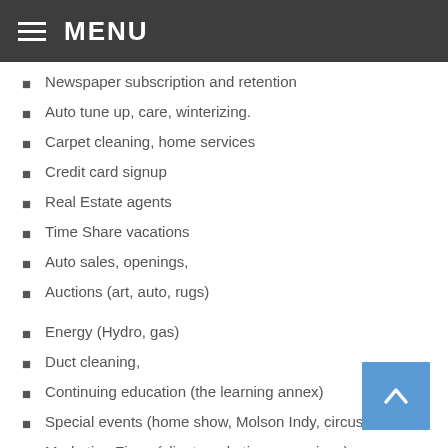MENU
Newspaper subscription and retention
Auto tune up, care, winterizing.
Carpet cleaning, home services
Credit card signup
Real Estate agents
Time Share vacations
Auto sales, openings,
Auctions (art, auto, rugs)
Energy (Hydro, gas)
Duct cleaning,
Continuing education (the learning annex)
Special events (home show, Molson Indy, circus, etc)
Marketing Firms (client marketing campaigns)
Tax preparation
RRSP contributions (banks, etc,)
Call centers
Junk removal services